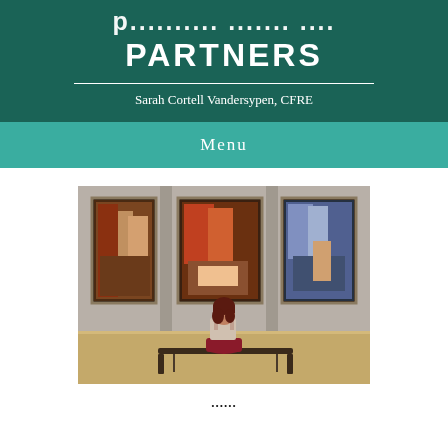PARTNERS
Sarah Cortell Vandersypen, CFRE
Menu
[Figure (photo): A person sitting on a bench in an art gallery, viewed from behind, facing three large classical paintings hanging on a grey wall.]